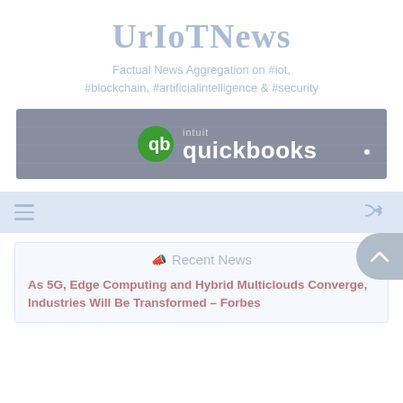UrIoTNews
Factual News Aggregation on #iot, #blockchain, #artificialintelligence & #security
[Figure (logo): Intuit QuickBooks logo on a dark grey banner background]
[Figure (other): Navigation bar with hamburger menu icon on left and shuffle icon on right, light blue background]
📣 Recent News
As 5G, Edge Computing and Hybrid Multiclouds Converge, Industries Will Be Transformed – Forbes